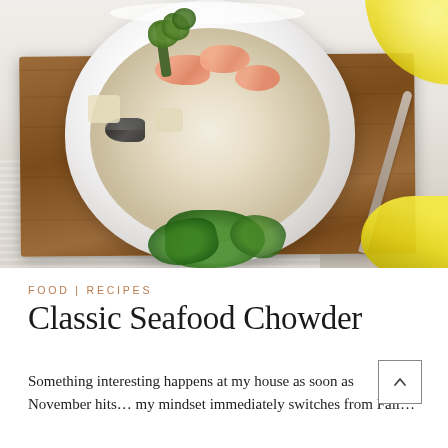[Figure (photo): A white bowl of classic seafood chowder with shrimp, mussels, potatoes, and fresh herb garnish, placed on a wooden cutting board with a silver spoon, fresh parsley, and lemon wedge in the background on a white cloth surface.]
FOOD | RECIPES
Classic Seafood Chowder
Something interesting happens at my house as soon as November hits… my mindset immediately switches from Fall…